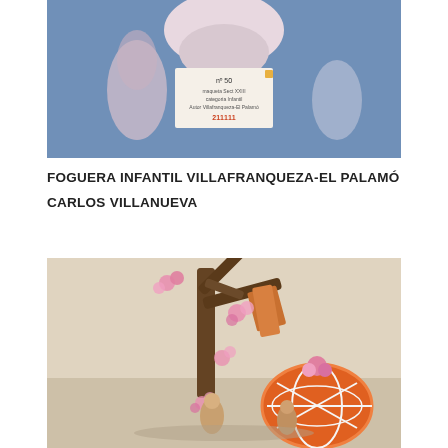[Figure (photo): Photo of a decorative figurine or model displayed on a table with a blue background. A label card with number 50 is visible in the foreground with text indicating foguera details.]
FOGUERA INFANTIL VILLAFRANQUEZA-EL PALAMÓ
CARLOS VILLANUEVA
[Figure (photo): Photo of a scale model or maqueta showing a decorative sculpture with a tree branch with pink flowers, and a colorful orange and white spherical structure on a beige/cream background.]